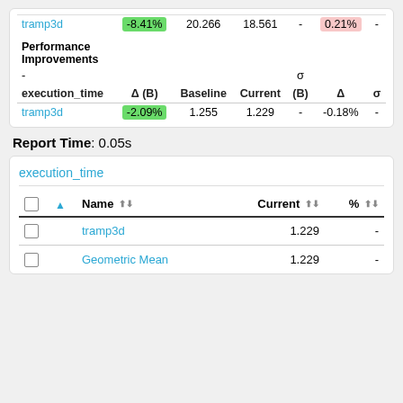| execution_time | Δ (B) | Baseline | Current | σ (B) | Δ | σ |
| --- | --- | --- | --- | --- | --- | --- |
| tramp3d | -8.41% | 20.266 | 18.561 | - | 0.21% | - |
| Performance Improvements |  |  |  |  |  |  |
| - |  |  |  | σ |  |  |
| execution_time | Δ (B) | Baseline | Current | (B) | Δ | σ |
| tramp3d | -2.09% | 1.255 | 1.229 | - | -0.18% | - |
Report Time: 0.05s
execution_time
|  | ▲ | Name | Current | % |
| --- | --- | --- | --- | --- |
| ☐ |  | tramp3d | 1.229 | - |
| ☐ |  | Geometric Mean | 1.229 | - |